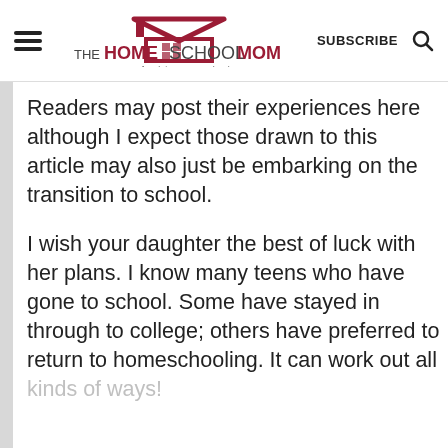THE HOMESCHOOL MOM — Over 20 Years of Helping Homeschoolers! | SUBSCRIBE
Readers may post their experiences here although I expect those drawn to this article may also just be embarking on the transition to school.
I wish your daughter the best of luck with her plans. I know many teens who have gone to school. Some have stayed in through to college; others have preferred to return to homeschooling. It can work out all kinds of ways!